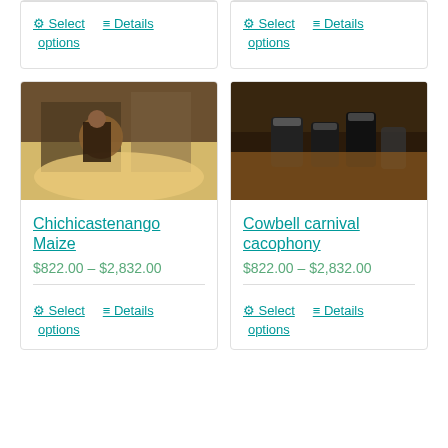[Figure (other): Top-left product card (partial, no image visible), with Select options and Details links]
[Figure (other): Top-right product card (partial, no image visible), with Select options and Details links]
[Figure (photo): Photo of a woman sitting behind a large pile of corn/maize at a market in Chichicastenango]
Chichicastenango Maize
$822.00 – $2,832.00
[Figure (photo): Close-up photo of cowbells worn by an animal at a carnival]
Cowbell carnival cacophony
$822.00 – $2,832.00